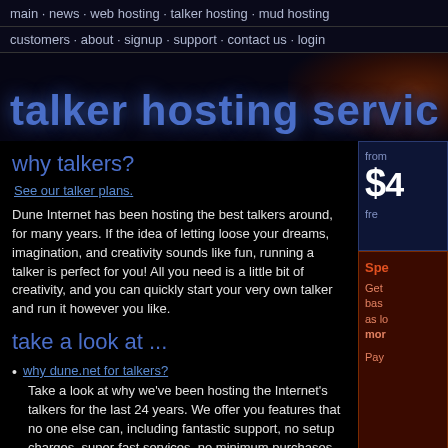main · news · web hosting · talker hosting · mud hosting
customers · about · signup · support · contact us · login
talker hosting servic
why talkers?
See our talker plans.
Dune Internet has been hosting the best talkers around, for many years. If the idea of letting loose your dreams, imagination, and creativity sounds like fun, running a talker is perfect for you! All you need is a little bit of creativity, and you can quickly start your very own talker and run it however you like.
take a look at ...
why dune.net for talkers?
Take a look at why we've been hosting the Internet's talkers for the last 24 years. We offer you features that no one else can, including fantastic support, no setup charges, super-fast services, no minimum purchases and a hassle free startup!
loads of extra features